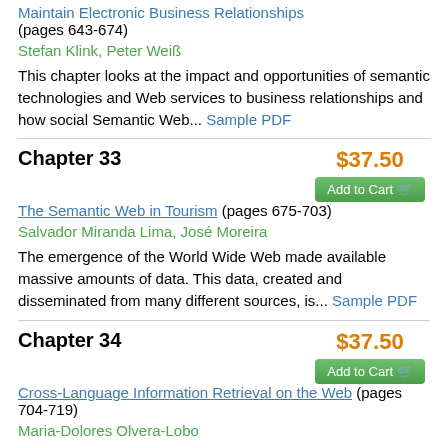Maintain Electronic Business Relationships (pages 643-674)
Stefan Klink, Peter Weiß
This chapter looks at the impact and opportunities of semantic technologies and Web services to business relationships and how social Semantic Web... Sample PDF
Chapter 33
$37.50
The Semantic Web in Tourism (pages 675-703)
Salvador Miranda Lima, José Moreira
The emergence of the World Wide Web made available massive amounts of data. This data, created and disseminated from many different sources, is... Sample PDF
Chapter 34
$37.50
Cross-Language Information Retrieval on the Web (pages 704-719)
Maria-Dolores Olvera-Lobo